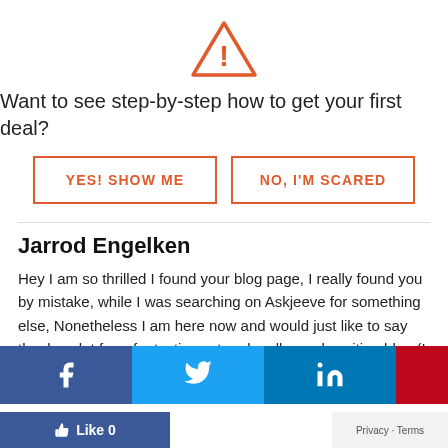[Figure (illustration): Orange warning triangle icon with exclamation mark]
Want to see step-by-step how to get your first deal?
YES! SHOW ME | NO, I'M SCARED (buttons)
Jarrod Engelken
Hey I am so thrilled I found your blog page, I really found you by mistake, while I was searching on Askjeeve for something else, Nonetheless I am here now and would just like to say thanks a lot for a fantastic post and a all round exciting blog (I also love the theme/design), I don't have time to look over it all at the moment but I have bookmarked it and also
[Figure (infographic): Social sharing bar with Facebook, Twitter, LinkedIn, Pinterest, Email, Instagram buttons and reCAPTCHA logo]
Like 0 | Privacy - Terms